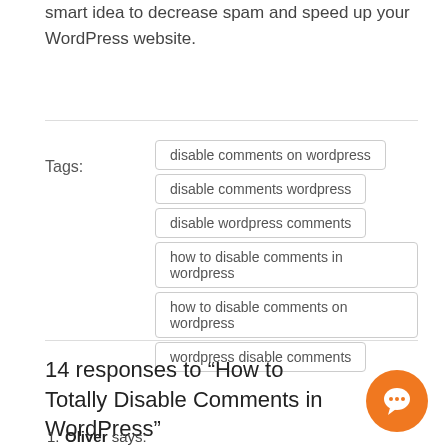smart idea to decrease spam and speed up your WordPress website.
disable comments on wordpress
disable comments wordpress
disable wordpress comments
how to disable comments in wordpress
how to disable comments on wordpress
wordpress disable comments
14 responses to “How to Totally Disable Comments in WordPress”
Oliver says: